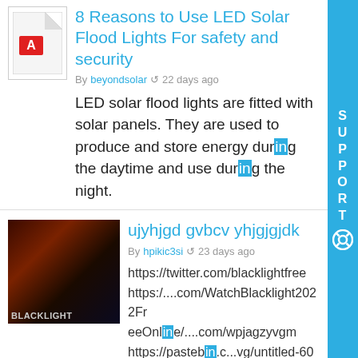8 Reasons to Use LED Solar Flood Lights For safety and security
By beyondsolar  22 days ago
LED solar flood lights are fitted with solar panels. They are used to produce and store energy during the daytime and use during the night.
ujyhjgd gvbcv yhjgjgjdk
By hpikic3si  23 days ago
https://twitter.com/blacklightfree https:/....com/WatchBlacklight2022FreeOnline/....com/wpjagzyvgm https://pastebin.c...vg/untitled-60699 https://bitbin.it/7G.../pile/RgvM3Vod https://paste-bin.xyz...